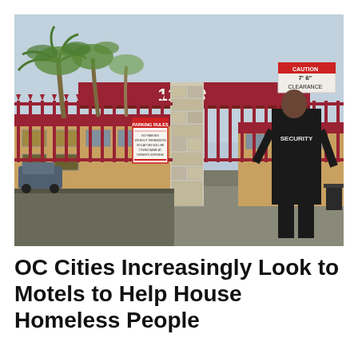[Figure (photo): Exterior of a motel at address 11850, showing a red iron fence gate with a security guard in a black jacket labeled SECURITY standing at the entrance. A stone pillar supports a red awning with the address number 11850. A CAUTION 7'6" CLEARANCE sign is visible. Palm trees and overcast sky are in the background. A PARKING RULES sign is attached to the fence.]
OC Cities Increasingly Look to Motels to Help House Homeless People